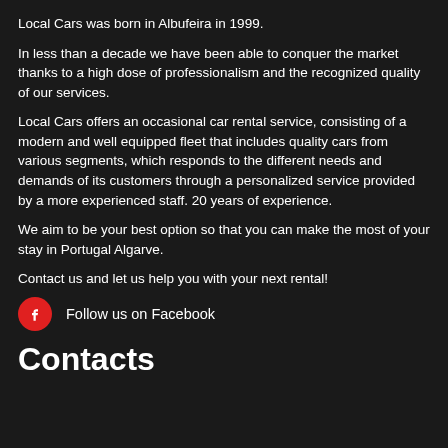Local Cars was born in Albufeira in 1999.
In less than a decade we have been able to conquer the market thanks to a high dose of professionalism and the recognized quality of our services.
Local Cars offers an occasional car rental service, consisting of a modern and well equipped fleet that includes quality cars from various segments, which responds to the different needs and demands of its customers through a personalized service provided by a more experienced staff. 20 years of experience.
We aim to be your best option so that you can make the most of your stay in Portugal Algarve.
Contact us and let us help you with your next rental!
[Figure (logo): Red circular Facebook icon with white 'f' letter]
Follow us on Facebook
Contacts